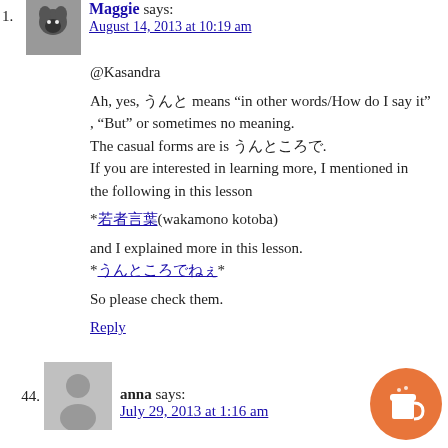1. Maggie says: August 14, 2013 at 10:19 am
@Kasandra
Ah, yes, □□□□ means “in other words/How do I say it”, “But” or sometimes no meaning.
The casual forms are is □□□□□□□.
If you are interested in learning more, I mentioned in the following in this lesson
*□□□□(wakamono kotoba)
and I explained more in this lesson.
*□□□□□□□□*
So please check them.
Reply
44. anna says: July 29, 2013 at 1:16 am
[Figure (illustration): Orange circular coffee cup icon button in bottom right corner]